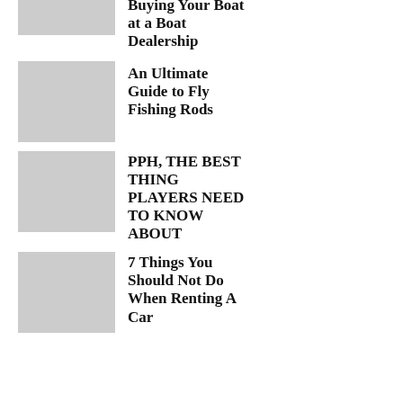[Figure (photo): Boat at a boat dealership, partial image at top]
Buying Your Boat at a Boat Dealership
[Figure (photo): Person holding a fly fishing reel near a river]
An Ultimate Guide to Fly Fishing Rods
[Figure (photo): Open book with glasses and a phone on a wooden table]
PPH, THE BEST THING PLAYERS NEED TO KNOW ABOUT
[Figure (photo): Person checking or handling a car tire, car rental scene]
7 Things You Should Not Do When Renting A Car